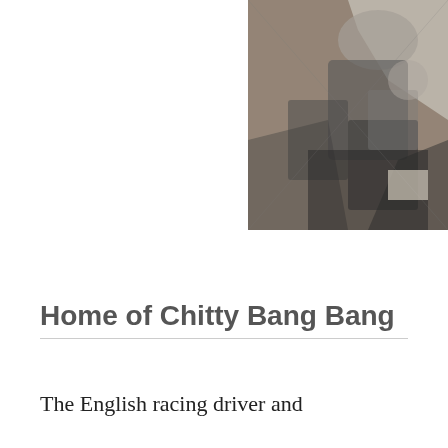[Figure (photo): Black and white photograph of a person, partially visible, appears to be a racing driver or similar figure, cropped at the right side of the page]
Home of Chitty Bang Bang
The English racing driver and